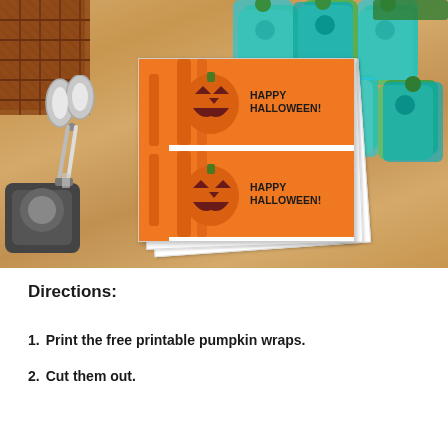[Figure (photo): Top-down photo of a wooden table with scissors, tape dispenser, a basket, Halloween pumpkin printable wraps (orange with jack-o-lantern faces and 'HAPPY HALLOWEEN!' text), and green Fruity snack pouches scattered around.]
Directions:
1. Print the free printable pumpkin wraps.
2. Cut them out.